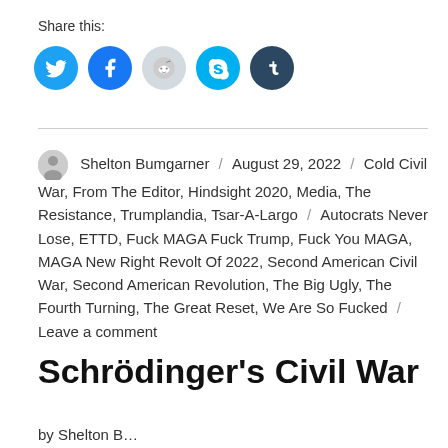Share this:
[Figure (other): Social sharing icons: Twitter (blue), Facebook (blue), Reddit (light gray), Skype (blue), Tumblr (dark navy)]
Shelton Bumgarner / August 29, 2022 / Cold Civil War, From The Editor, Hindsight 2020, Media, The Resistance, Trumplandia, Tsar-A-Largo / Autocrats Never Lose, ETTD, Fuck MAGA Fuck Trump, Fuck You MAGA, MAGA New Right Revolt Of 2022, Second American Civil War, Second American Revolution, The Big Ugly, The Fourth Turning, The Great Reset, We Are So Fucked / Leave a comment
Schrödinger's Civil War
by Shelton B…